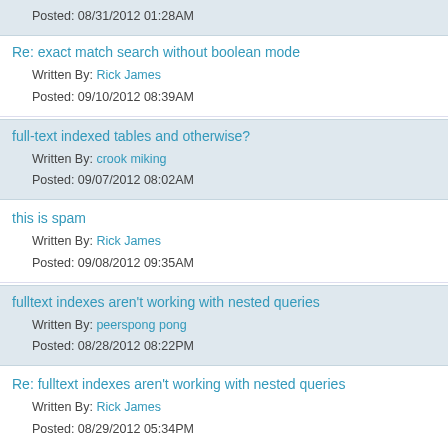Posted: 08/31/2012 01:28AM
Re: exact match search without boolean mode
Written By: Rick James
Posted: 09/10/2012 08:39AM
full-text indexed tables and otherwise?
Written By: crook miking
Posted: 09/07/2012 08:02AM
this is spam
Written By: Rick James
Posted: 09/08/2012 09:35AM
fulltext indexes aren't working with nested queries
Written By: peerspong pong
Posted: 08/28/2012 08:22PM
Re: fulltext indexes aren't working with nested queries
Written By: Rick James
Posted: 08/29/2012 05:34PM